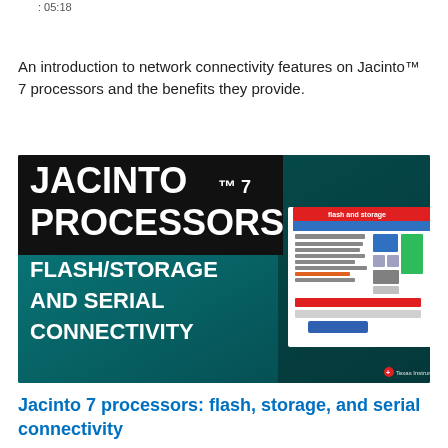: 05:18
An introduction to network connectivity features on Jacinto™ 7 processors and the benefits they provide.
[Figure (screenshot): Thumbnail image for a Texas Instruments video about Jacinto 7 processors covering flash/storage and serial connectivity. Dark teal background with bold white text: JACINTO™ 7 PROCESSORS FLASH/STORAGE AND SERIAL CONNECTIVITY, and a diagram of the processor block architecture on the right side.]
Jacinto 7 processors: flash, storage, and serial connectivity